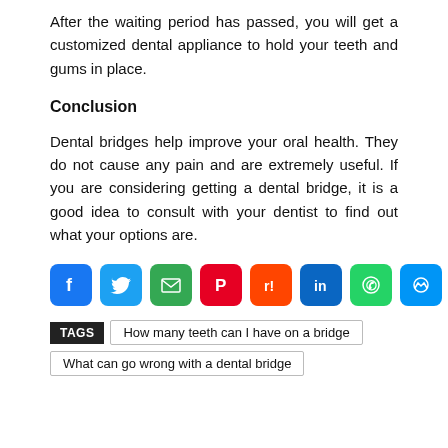After the waiting period has passed, you will get a customized dental appliance to hold your teeth and gums in place.
Conclusion
Dental bridges help improve your oral health. They do not cause any pain and are extremely useful. If you are considering getting a dental bridge, it is a good idea to consult with your dentist to find out what your options are.
[Figure (other): Social media sharing icons: Facebook, Twitter, Email, Pinterest, Reddit, LinkedIn, WhatsApp, Messenger, Link, Plus/More]
TAGS   How many teeth can I have on a bridge   What can go wrong with a dental bridge